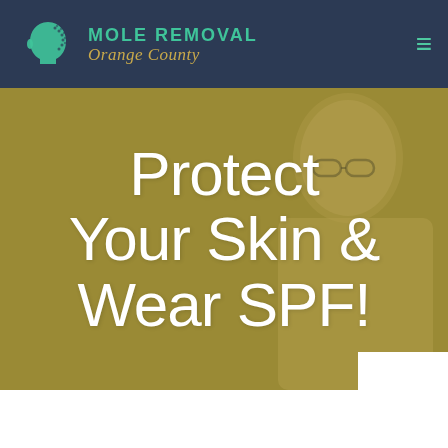[Figure (logo): Mole Removal Orange County logo with teal head silhouette icon on dark navy background header]
[Figure (photo): Website screenshot showing older male doctor with stethoscope and glasses smiling, overlaid with large white text on a gold/olive background]